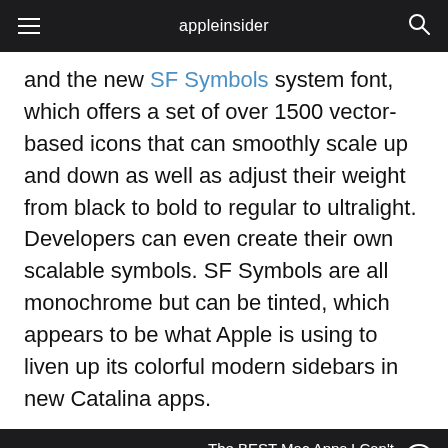appleinsider
and the new SF Symbols system font, which offers a set of over 1500 vector-based icons that can smoothly scale up and down as well as adjust their weight from black to bold to regular to ultralight. Developers can even create their own scalable symbols. SF Symbols are all monochrome but can be tinted, which appears to be what Apple is using to liven up its colorful modern sidebars in new Catalina apps.
The BEST Mac Apps I Can't Live Without!